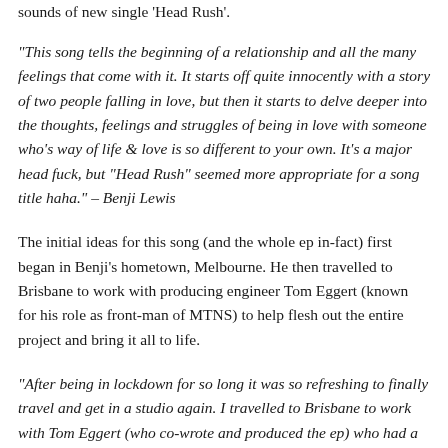sounds of new single 'Head Rush'.
“This song tells the beginning of a relationship and all the many feelings that come with it. It starts off quite innocently with a story of two people falling in love, but then it starts to delve deeper into the thoughts, feelings and struggles of being in love with someone who’s way of life & love is so different to your own. It’s a major head fuck, but “Head Rush” seemed more appropriate for a song title haha.” – Benji Lewis
The initial ideas for this song (and the whole ep in-fact) first began in Benji’s hometown, Melbourne. He then travelled to Brisbane to work with producing engineer Tom Eggert (known for his role as front-man of MTNS) to help flesh out the entire project and bring it all to life.
“After being in lockdown for so long it was so refreshing to finally travel and get in a studio again. I travelled to Brisbane to work with Tom Eggert (who co-wrote and produced the ep) who had a really